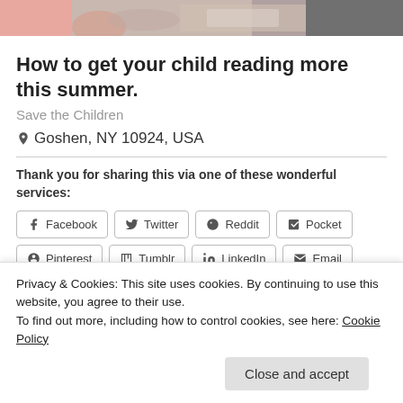[Figure (photo): Partial photo of a child reading a book, cropped at top]
How to get your child reading more this summer.
Save the Children
📍 Goshen, NY 10924, USA
Thank you for sharing this via one of these wonderful services:
Facebook
Twitter
Reddit
Pocket
Pinterest
Tumblr
LinkedIn
Email
Print
Privacy & Cookies: This site uses cookies. By continuing to use this website, you agree to their use.
To find out more, including how to control cookies, see here: Cookie Policy
Close and accept